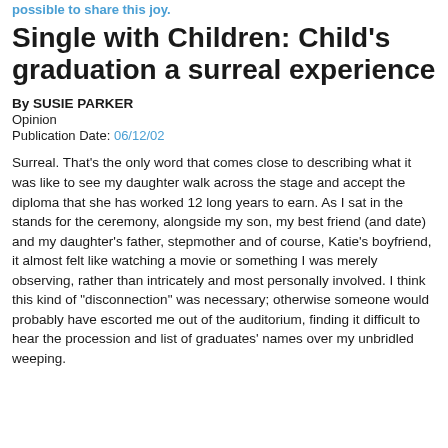possible to share this joy.
Single with Children: Child's graduation a surreal experience
By SUSIE PARKER
Opinion
Publication Date: 06/12/02
Surreal. That's the only word that comes close to describing what it was like to see my daughter walk across the stage and accept the diploma that she has worked 12 long years to earn. As I sat in the stands for the ceremony, alongside my son, my best friend (and date) and my daughter's father, stepmother and of course, Katie's boyfriend, it almost felt like watching a movie or something I was merely observing, rather than intricately and most personally involved. I think this kind of "disconnection" was necessary; otherwise someone would probably have escorted me out of the auditorium, finding it difficult to hear the procession and list of graduates' names over my unbridled weeping.